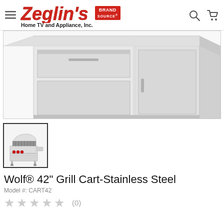Zeglin's Brand Source Home TV and Appliance, Inc.
[Figure (photo): Close-up product photo of Wolf 42-inch Grill Cart Stainless Steel, showing the stainless steel body and drawers of the grill cart from an angle, cropped at top.]
[Figure (photo): Thumbnail product photo of Wolf 42-inch Grill Cart with grill head open showing grates, red burner knobs, and a side shelf.]
Wolf® 42" Grill Cart-Stainless Steel
Model #: CART42
★★★★★ (0)